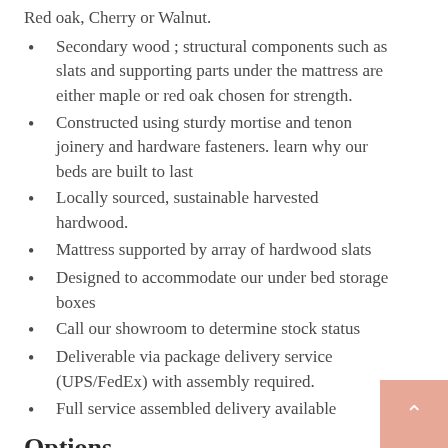Red oak, Cherry or Walnut.
Secondary wood ; structural components such as slats and supporting parts under the mattress are either maple or red oak chosen for strength.
Constructed using sturdy mortise and tenon joinery and hardware fasteners. learn why our beds are built to last
Locally sourced, sustainable harvested hardwood.
Mattress supported by array of hardwood slats
Designed to accommodate our under bed storage boxes
Call our showroom to determine stock status
Deliverable via package delivery service (UPS/FedEx) with assembly required.
Full service assembled delivery available
Options